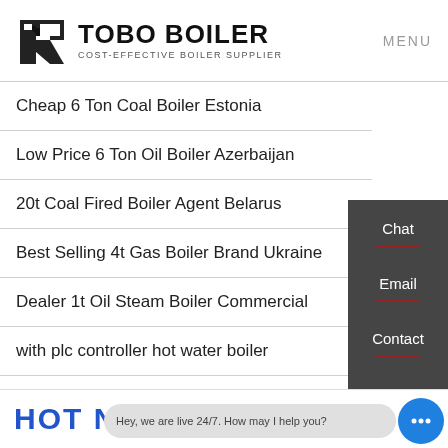TOBO BOILER COST-EFFECTIVE BOILER SUPPLIER | MENU
Cheap 6 Ton Coal Boiler Estonia
Low Price 6 Ton Oil Boiler Azerbaijan
20t Coal Fired Boiler Agent Belarus
Best Selling 4t Gas Boiler Brand Ukraine
Dealer 1t Oil Steam Boiler Commercial
with plc controller hot water boiler
Chat
Email
Contact
HOT NEW
Hey, we are live 24/7. How may I help you?